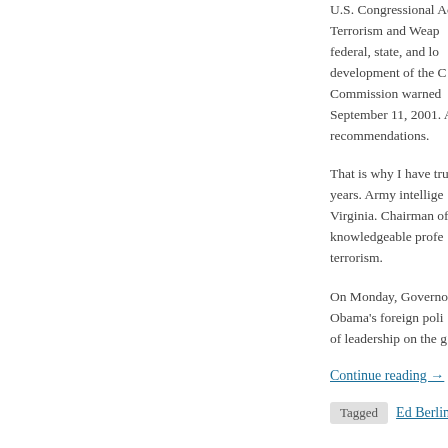U.S. Congressional Ac Terrorism and Weap federal, state, and lo development of the C Commission warned September 11, 2001. A recommendations.
That is why I have tru years. Army intellige Virginia. Chairman of knowledgeable profe terrorism.
On Monday, Governo Obama's foreign poli of leadership on the g
Continue reading →
Tagged Ed Berline